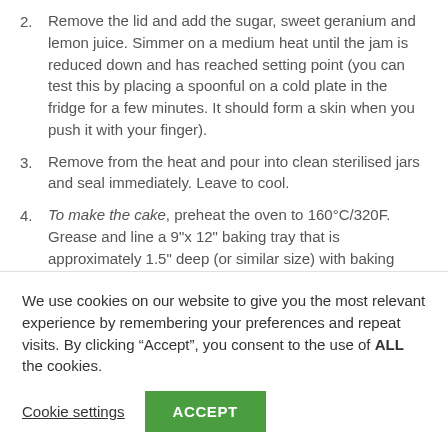2. Remove the lid and add the sugar, sweet geranium and lemon juice. Simmer on a medium heat until the jam is reduced down and has reached setting point (you can test this by placing a spoonful on a cold plate in the fridge for a few minutes. It should form a skin when you push it with your finger).
3. Remove from the heat and pour into clean sterilised jars and seal immediately. Leave to cool.
4. To make the cake, preheat the oven to 160°C/320F. Grease and line a 9"x 12" baking tray that is approximately 1.5" deep (or similar size) with baking parchment.
We use cookies on our website to give you the most relevant experience by remembering your preferences and repeat visits. By clicking “Accept”, you consent to the use of ALL the cookies.
Cookie settings   ACCEPT